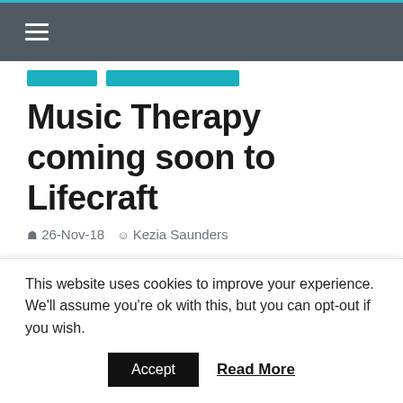≡ (hamburger menu / navigation bar)
Music Therapy coming soon to Lifecraft
26-Nov-18   Kezia Saunders
Lifecraft is excited to announce that we will be able to offer both group and individual music therapy sessions for eight weeks from January 2019.
What Is Music Therapy?
Music therapy creates a safe and non-
This website uses cookies to improve your experience. We'll assume you're ok with this, but you can opt-out if you wish.
Accept   Read More